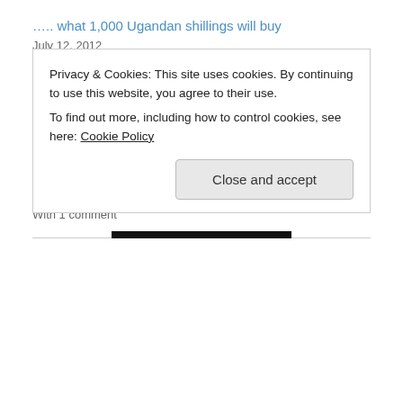….. what 1,000 Ugandan shillings will buy
July 12, 2012
With 1 comment
…… what I do in the clinic?
June 23, 2012
With 1 comment
Something I never learned in nursing……….. how to buy medication for a clinic
February 27, 2012
With 1 comment
Privacy & Cookies: This site uses cookies. By continuing to use this website, you agree to their use.
To find out more, including how to control cookies, see here: Cookie Policy
Close and accept